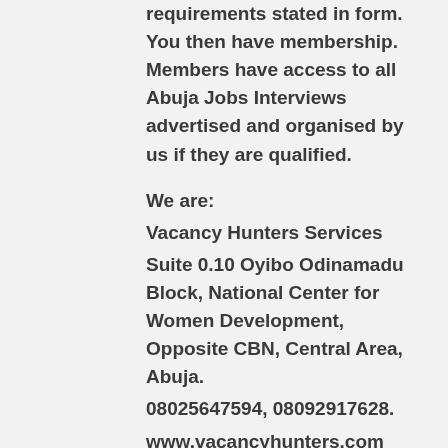requirements stated in form. You then have membership. Members have access to all Abuja Jobs Interviews advertised and organised by us if they are qualified.
We are:
Vacancy Hunters Services
Suite 0.10 Oyibo Odinamadu Block, National Center for Women Development, Opposite CBN, Central Area, Abuja.
08025647594, 08092917628.
www.vacancyhunters.com
vacancyhunters.com
Vacancy Hunters – the best resort for jobs seekers and givers